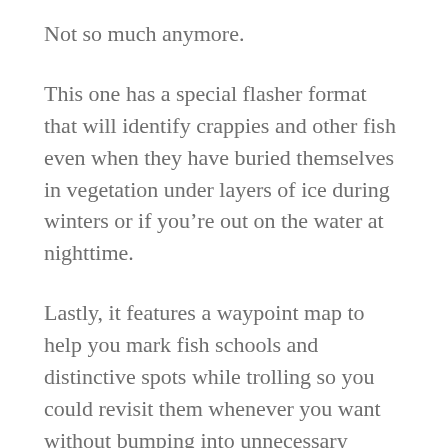Not so much anymore.
This one has a special flasher format that will identify crappies and other fish even when they have buried themselves in vegetation under layers of ice during winters or if you’re out on the water at nighttime.
Lastly, it features a waypoint map to help you mark fish schools and distinctive spots while trolling so you could revisit them whenever you want without bumping into unnecessary obstacles along the way.